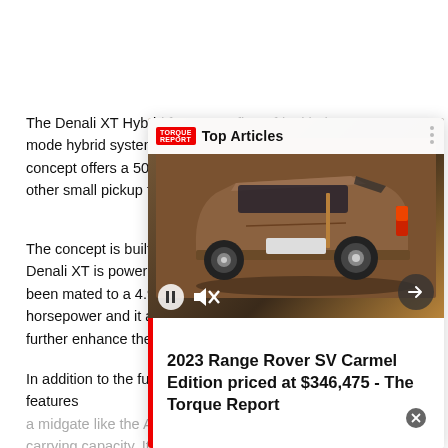The Denali XT Hybrid features a first-of-its-kind two-mode hybrid system that mode hybrid system concept offers a 50 p other small pickup tru
The concept is built o e Denali XT is powered been mated to a 4.9L horsepower and it als further enhance the v
[Figure (screenshot): An overlay card showing a video thumbnail of a brown/bronze Range Rover SV SUV from the rear, with Top Articles label and article title '2023 Range Rover SV Carmel Edition priced at $346,475 - The Torque Report']
In addition to the fuel-efficient powertrain the Denali XT also features a midgate like the Avalanche pickup that provides extra cargo carrying capacity. It is also capable of towing up to 3,500 pounds.